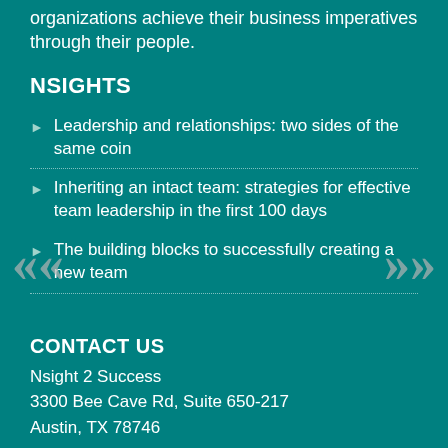organizations achieve their business imperatives through their people.
NSIGHTS
Leadership and relationships: two sides of the same coin
Inheriting an intact team: strategies for effective team leadership in the first 100 days
The building blocks to successfully creating a new team
CONTACT US
Nsight 2 Success
3300 Bee Cave Rd, Suite 650-217
Austin, TX 78746